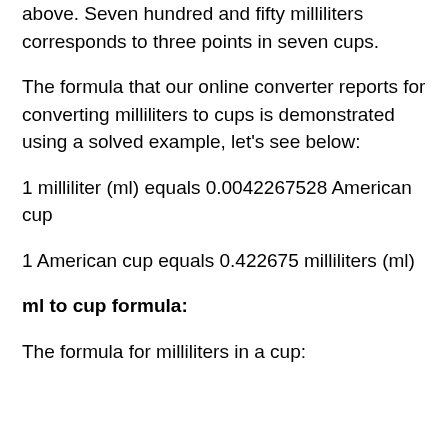above. Seven hundred and fifty milliliters corresponds to three points in seven cups.
The formula that our online converter reports for converting milliliters to cups is demonstrated using a solved example, let's see below:
1 milliliter (ml) equals 0.0042267528 American cup
1 American cup equals 0.422675 milliliters (ml)
ml to cup formula:
The formula for milliliters in a cup: